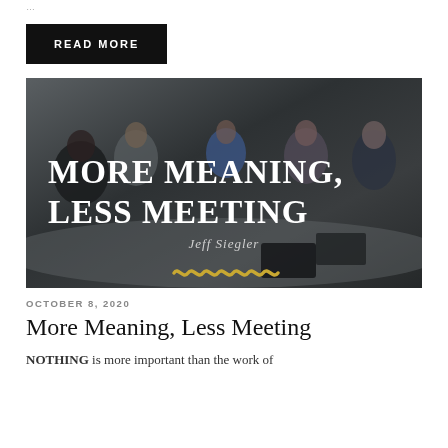...
READ MORE
[Figure (photo): Book cover image showing people sitting around a conference table in a meeting room, with overlay text reading 'MORE MEANING, LESS MEETING' by Jeff Siegler, and a decorative squiggle logo at the bottom]
OCTOBER 8, 2020
More Meaning, Less Meeting
NOTHING is more important than the work of